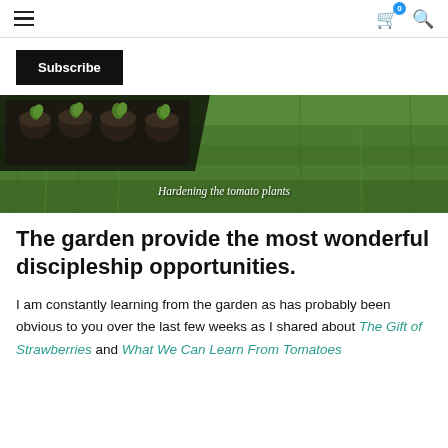≡  🛒 (0)  🔍
Subscribe
[Figure (photo): A tray of tomato seedlings in small dark pots sitting on green grass, photographed from above. Caption reads: Hardening the tomato plants]
Hardening the tomato plants
The garden provide the most wonderful discipleship opportunities.
I am constantly learning from the garden as has probably been obvious to you over the last few weeks as I shared about The Gift of Strawberries and What We Can Learn From Tomatoes